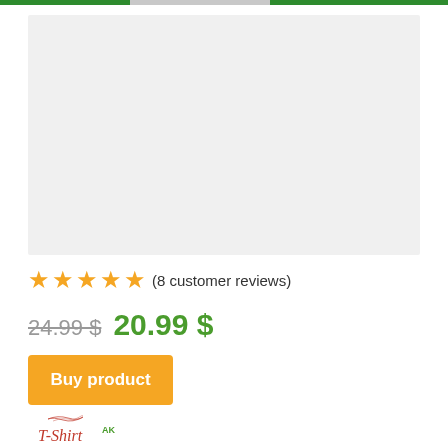[Figure (photo): Product image placeholder — light gray rectangle representing a product photo area]
★★★★★ (8 customer reviews)
24.99 $ 20.99 $
Buy product
[Figure (logo): T-Shirt AK logo at bottom of page — red decorative text with green superscript AK]